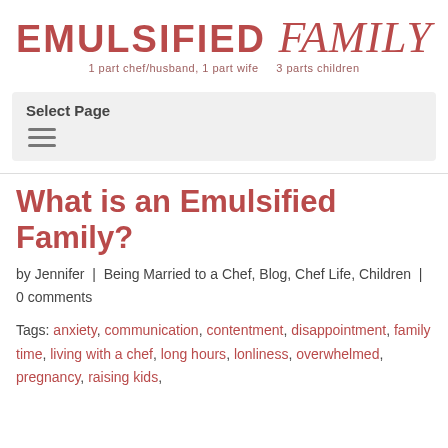[Figure (logo): Emulsified Family blog logo — 'EMULSIFIED family' in red/mauve with tagline '1 part chef/husband, 1 part wife   3 parts children']
Select Page
What is an Emulsified Family?
by Jennifer | Being Married to a Chef, Blog, Chef Life, Children | 0 comments
Tags: anxiety, communication, contentment, disappointment, family time, living with a chef, long hours, lonliness, overwhelmed, pregnancy, raising kids,